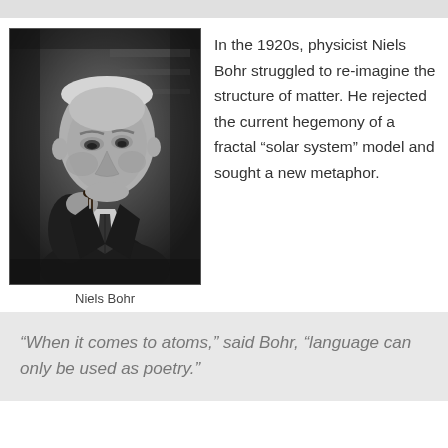[Figure (photo): Black and white photograph of physicist Niels Bohr, an elderly man holding a pipe to his mouth, wearing a dark suit with a tie, looking downward in a thoughtful pose.]
Niels Bohr
In the 1920s, physicist Niels Bohr struggled to re-imagine the structure of matter. He rejected the current hegemony of a fractal “solar system” model and sought a new metaphor.
“When it comes to atoms,” said Bohr, “language can only be used as poetry.”